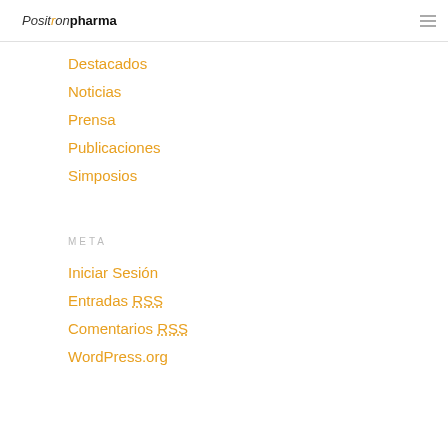PositrónPharma
Destacados
Noticias
Prensa
Publicaciones
Simposios
META
Iniciar Sesión
Entradas RSS
Comentarios RSS
WordPress.org